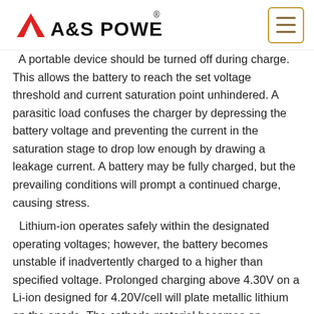A&S POWER
A portable device should be turned off during charge. This allows the battery to reach the set voltage threshold and current saturation point unhindered. A parasitic load confuses the charger by depressing the battery voltage and preventing the current in the saturation stage to drop low enough by drawing a leakage current. A battery may be fully charged, but the prevailing conditions will prompt a continued charge, causing stress.
Lithium-ion operates safely within the designated operating voltages; however, the battery becomes unstable if inadvertently charged to a higher than specified voltage. Prolonged charging above 4.30V on a Li-ion designed for 4.20V/cell will plate metallic lithium on the anode. The cathode material becomes an oxidizing agent, loses stability and produces carbon dioxide (CO2). The cell pressure rises and if the charge is allowed to continue, the current interrupt device